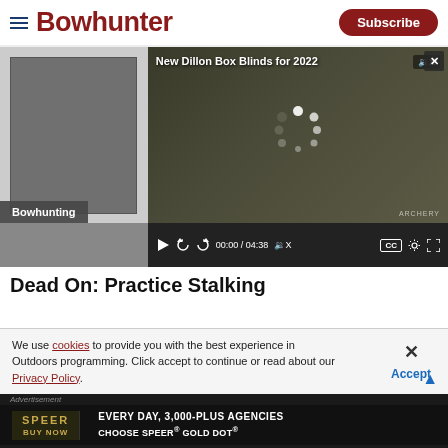Bowhunter — Subscribe
[Figure (screenshot): Video player showing 'New Dillon Box Blinds for 2022' with loading spinner, video controls showing 00:00 / 04:38, CC and settings icons, and a Bowhunting category tag]
Dead On: Practice Stalking
We use cookies to provide you with the best experience in Outdoors programming. Click accept to continue or read about our Privacy Policy.
[Figure (screenshot): Speer advertisement: 'EVERY DAY, 3,000-PLUS AGENCIES CHOOSE SPEER® GOLD DOT®' with BUY NOW button]